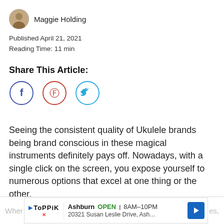Maggie Holding
Published April 21, 2021
Reading Time: 11 min
Share This Article:
[Figure (illustration): Three social share icon circles: Facebook (f, dark blue outline), Pinterest (p, red outline), Twitter (bird, light blue outline)]
Seeing the consistent quality of Ukulele brands being brand conscious in these magical instruments definitely pays off. Nowadays, with a single click on the screen, you expose yourself to numerous options that excel at one thing or the other.
Wher... es,
[Figure (advertisement): Toppik ad banner: Ashburn OPEN 8AM-10PM, 20321 Susan Leslie Drive, Ash... with blue direction arrow icon]